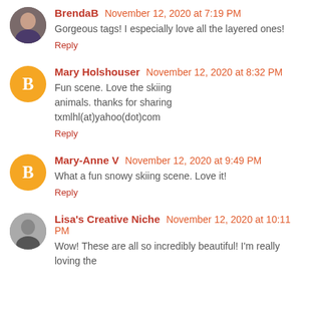[Figure (photo): Small circular avatar photo of BrendaB]
BrendaB November 12, 2020 at 7:19 PM
Gorgeous tags! I especially love all the layered ones!
Reply
[Figure (illustration): Orange circle avatar with blogger B icon for Mary Holshouser]
Mary Holshouser November 12, 2020 at 8:32 PM
Fun scene. Love the skiing animals. thanks for sharing txmlhl(at)yahoo(dot)com
Reply
[Figure (illustration): Orange circle avatar with blogger B icon for Mary-Anne V]
Mary-Anne V November 12, 2020 at 9:49 PM
What a fun snowy skiing scene. Love it!
Reply
[Figure (photo): Small circular avatar photo of Lisa's Creative Niche]
Lisa's Creative Niche November 12, 2020 at 10:11 PM
Wow! These are all so incredibly beautiful! I'm really loving the